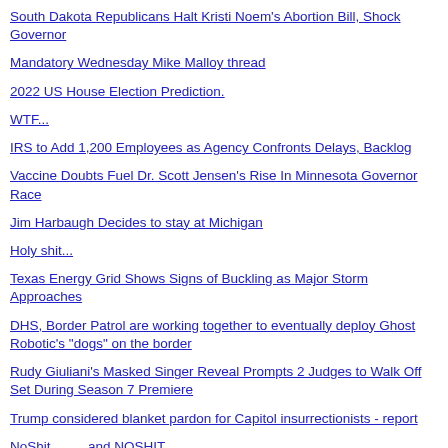South Dakota Republicans Halt Kristi Noem's Abortion Bill, Shock Governor
Mandatory Wednesday Mike Malloy thread
2022 US House Election Prediction.
WTF...
IRS to Add 1,200 Employees as Agency Confronts Delays, Backlog
Vaccine Doubts Fuel Dr. Scott Jensen's Rise In Minnesota Governor Race
Jim Harbaugh Decides to stay at Michigan
Holy shit...
Texas Energy Grid Shows Signs of Buckling as Major Storm Approaches
DHS, Border Patrol are working together to eventually deploy Ghost Robotic's "dogs" on the border
Rudy Giuliani's Masked Singer Reveal Prompts 2 Judges to Walk Off Set During Season 7 Premiere
Trump considered blanket pardon for Capitol insurrectionists - report
NoShit..........and NOSHIT..............
George Jones -- Still Doing Time
Most Austinites experiencing homelessness will go without the city's